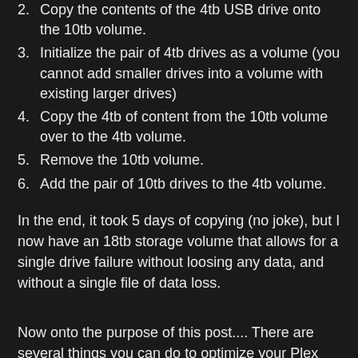2. Copy the contents of the 4tb USB drive onto the 10tb volume.
3. Initialize the pair of 4tb drives as a volume (you cannot add smaller drives into a volume with existing larger drives)
4. Copy the 4tb of content from the 10tb volume over to the 4tb volume.
5. Remove the 10tb volume.
6. Add the pair of 10tb drives to the 4tb volume.
In the end, it took 5 days of copying (no joke), but I now have an 18tb storage volume that allows for a single drive failure without loosing any data, and without a single file of data loss.
Now onto the purpose of this post.... There are several things you can do to optimize your Plex media server to run at maximum capacity. I am making the assumption that you have at least a working knowledge of how to use DSM as well as Plex, so I'll be skipping some of the rudimentary